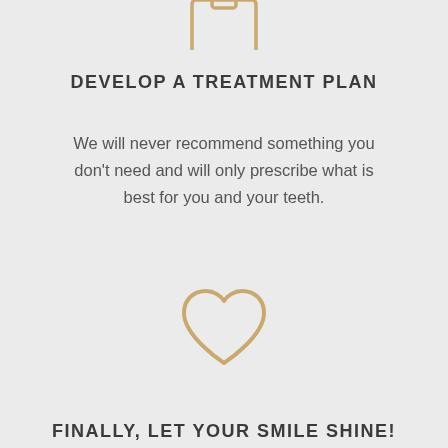[Figure (illustration): Gold/tan outline icon of a clipboard or document at the top of the page, partially cropped]
DEVELOP A TREATMENT PLAN
We will never recommend something you don't need and will only prescribe what is best for you and your teeth.
[Figure (illustration): Gold/tan outline icon of a heart shape in the center-lower area]
FINALLY, LET YOUR SMILE SHINE!